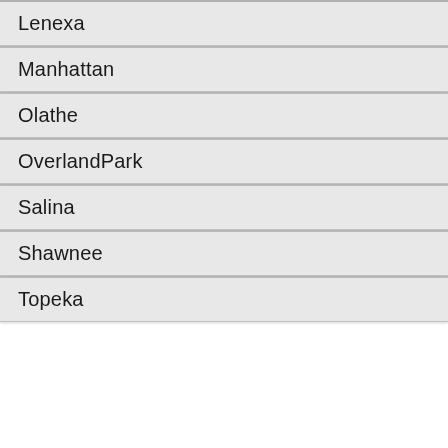Lenexa
Manhattan
Olathe
OverlandPark
Salina
Shawnee
Topeka